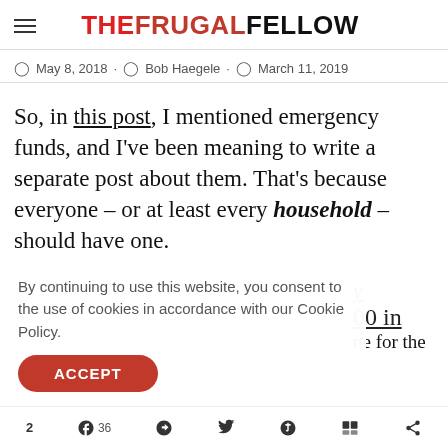THE FRUGAL FELLOW
May 8, 2018 · Bob Haegele · March 11, 2019
So, in this post, I mentioned emergency funds, and I've been meaning to write a separate post about them. That's because everyone – or at least every household – should have one.
By continuing to use this website, you consent to the use of cookies in accordance with our Cookie Policy.
2  f  36  Pinterest  Twitter  Reddit  Flipboard  Mix  Share